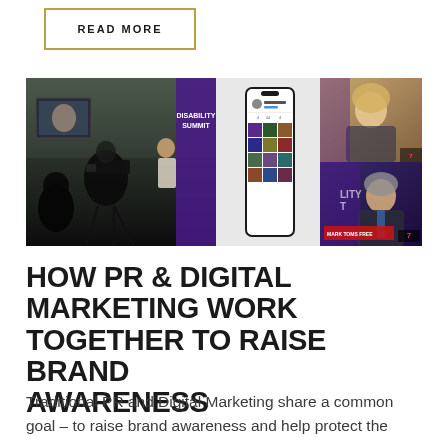READ MORE
[Figure (photo): Collage of three panels: left shows a TV camera crew filming a presenter at an outdoor event with a purple 'Disability Summit' banner; center shows a smartphone displaying a social media profile page with a grid of posts; right shows two TV news interview stills of a blonde woman and a suited man in front of a purple conference backdrop.]
HOW PR & DIGITAL MARKETING WORK TOGETHER TO RAISE BRAND AWARENESS
Traditional PR and Digital Marketing share a common goal – to raise brand awareness and help protect the